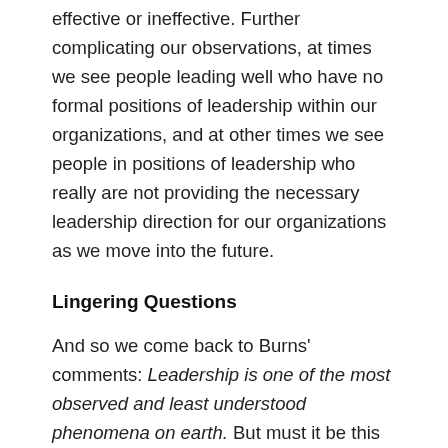effective or ineffective. Further complicating our observations, at times we see people leading well who have no formal positions of leadership within our organizations, and at other times we see people in positions of leadership who really are not providing the necessary leadership direction for our organizations as we move into the future.
Lingering Questions
And so we come back to Burns' comments: Leadership is one of the most observed and least understood phenomena on earth. But must it be this way? Is leadership simply a mysterious reality? Is it something that we simply know when it is going well or poorly, but will never really understand what makes it work? Or might we be able to provide some basic descriptions of the form and shape